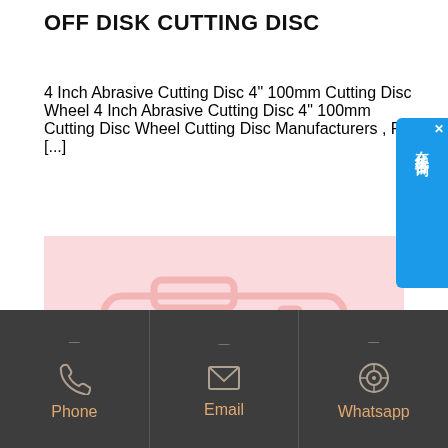OFF DISK CUTTING DISC
4 Inch Abrasive Cutting Disc 4" 100mm Cutting Disc Wheel 4 Inch Abrasive Cutting Disc 4" 100mm Cutting Disc Wheel Cutting Disc Manufacturers , Find [...]
[Figure (photo): Pink placeholder image with camera icon and image icon overlay, indicating missing product image]
Phone  Email  Whatsapp